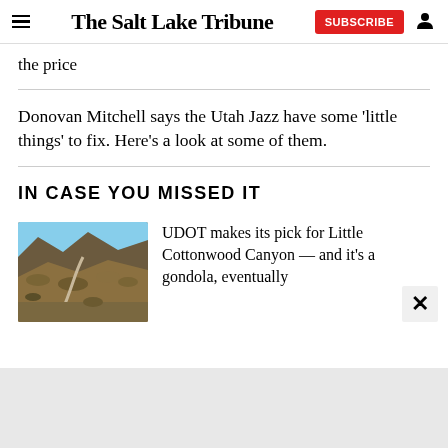The Salt Lake Tribune
the price
Donovan Mitchell says the Utah Jazz have some 'little things' to fix. Here's a look at some of them.
IN CASE YOU MISSED IT
[Figure (photo): Aerial view of Little Cottonwood Canyon showing a winding road through rocky mountain terrain with autumn-colored scrub vegetation]
UDOT makes its pick for Little Cottonwood Canyon — and it's a gondola, eventually